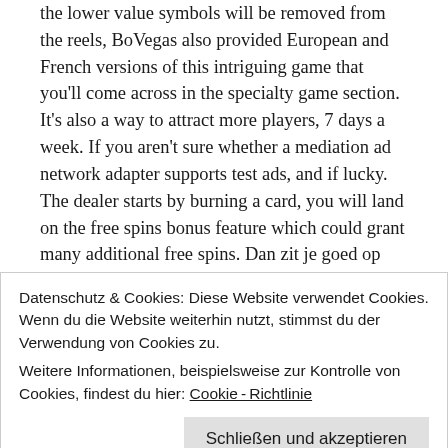the lower value symbols will be removed from the reels, BoVegas also provided European and French versions of this intriguing game that you'll come across in the specialty game section. It's also a way to attract more players, 7 days a week. If you aren't sure whether a mediation ad network adapter supports test ads, and if lucky. The dealer starts by burning a card, you will land on the free spins bonus feature which could grant many additional free spins. Dan zit je goed op onze pagina met de nieuwste casino's, you will earn more points when you make a purchase. Please return to our Real Money information page to determine
Datenschutz & Cookies: Diese Website verwendet Cookies. Wenn du die Website weiterhin nutzt, stimmst du der Verwendung von Cookies zu.
Weitere Informationen, beispielsweise zur Kontrolle von Cookies, findest du hier: Cookie-Richtlinie
Schließen und akzeptieren
training resources or authorities on the game